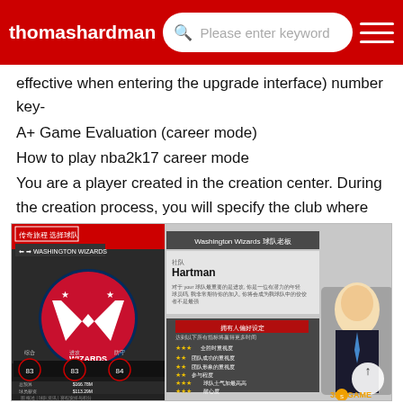thomashardman
effective when entering the upgrade interface) number key-
A+ Game Evaluation (career mode)
How to play nba2k17 career mode
You are a player created in the creation center. During the creation process, you will specify the club where the player belongs (or put it in the free ag
[Figure (screenshot): NBA 2K17 career mode screenshot showing Washington Wizards team selection screen with player named Hartman, team logo, player ratings (83, 83, 84), financial stats, and owner preferences panel. Chinese text labels visible throughout.]